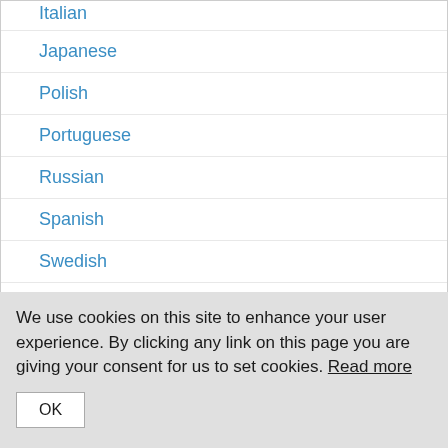Italian
Japanese
Polish
Portuguese
Russian
Spanish
Swedish
and many more ...
We use cookies on this site to enhance your user experience. By clicking any link on this page you are giving your consent for us to set cookies. Read more
OK